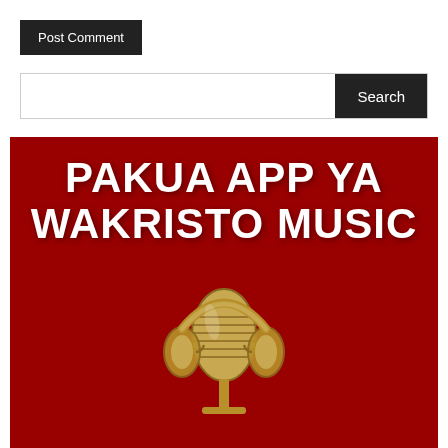Post Comment
Search
[Figure (illustration): Red promotional banner for 'PAKUA APP YA WAKRISTO MUSIC' with bold white text and a gold vintage microphone with headphones graphic on a dark red background]